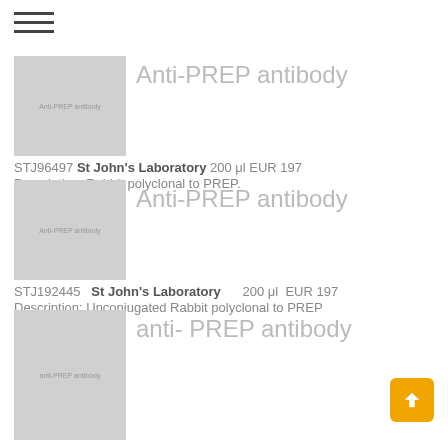[Figure (screenshot): Hamburger menu icon (three horizontal lines)]
[Figure (photo): Product thumbnail showing Anti-PREP antibody image placeholder]
Anti-PREP antibody
STJ96497 St John's Laboratory 200 μl EUR 197
Description: Rabbit polyclonal to PREP.
[Figure (photo): Product thumbnail showing Anti-PREP antibody image placeholder]
Anti-PREP antibody
STJ192445   St John's Laboratory     200 μl  EUR 197
Description: Unconjugated Rabbit polyclonal to PREP
[Figure (photo): Product thumbnail showing anti-PREP antibody image placeholder]
anti- PREP antibody